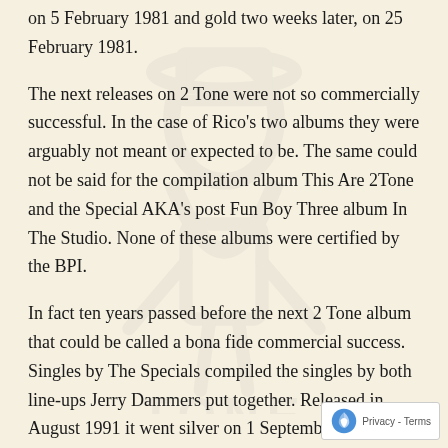on 5 February 1981 and gold two weeks later, on 25 February 1981.
The next releases on 2 Tone were not so commercially successful. In the case of Rico's two albums they were arguably not meant or expected to be. The same could not be said for the compilation album This Are 2Tone and the Special AKA's post Fun Boy Three album In The Studio. None of these albums were certified by the BPI.
In fact ten years passed before the next 2 Tone album that could be called a bona fide commercial success. Singles by The Specials compiled the singles by both line-ups Jerry Dammers put together. Released in August 1991 it went silver on 1 September 1991. It subsequently went gold on 27 April 2001.